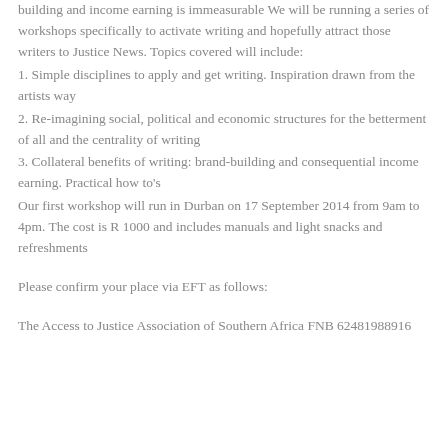building and income earning is immeasurable We will be running a series of workshops specifically to activate writing and hopefully attract those writers to Justice News. Topics covered will include:
1. Simple disciplines to apply and get writing. Inspiration drawn from the artists way
2. Re-imagining social, political and economic structures for the betterment of all and the centrality of writing
3. Collateral benefits of writing: brand-building and consequential income earning. Practical how to's
Our first workshop will run in Durban on 17 September 2014 from 9am to 4pm. The cost is R 1000 and includes manuals and light snacks and refreshments
Please confirm your place via EFT as follows:
The Access to Justice Association of Southern Africa FNB 62481988916